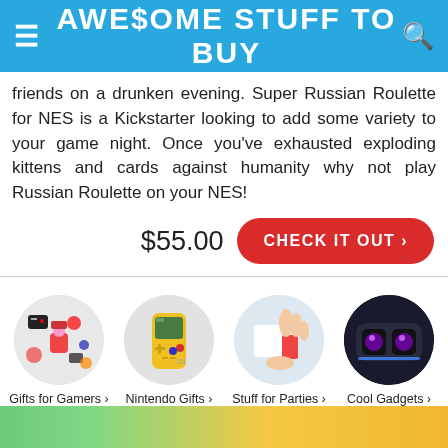AWESOME STUFF TO BUY
friends on a drunken evening. Super Russian Roulette for NES is a Kickstarter looking to add some variety to your game night. Once you've exhausted exploding kittens and cards against humanity why not play Russian Roulette on your NES!
$55.00  CHECK IT OUT >
[Figure (illustration): Four circular thumbnail images for categories: Gifts for Gamers, Nintendo Gifts, Stuff for Parties, Cool Gadgets]
Gifts for Gamers ›
Nintendo Gifts ›
Stuff for Parties ›
Cool Gadgets ›
[Figure (photo): Bottom strip showing colorful partial image in green and yellow tones]